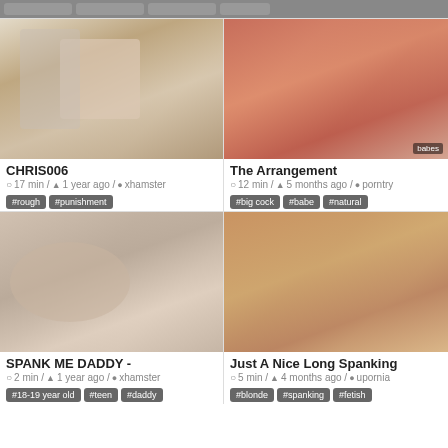[Figure (screenshot): Top navigation bar with category buttons]
[Figure (photo): Video thumbnail for CHRIS006 - spanking scene]
CHRIS006
17 min / 1 year ago / xhamster
#rough #punishment
[Figure (photo): Video thumbnail for The Arrangement - woman in red lingerie with man in suit]
The Arrangement
12 min / 5 months ago / porntry
#big cock #babe #natural
[Figure (photo): Video thumbnail for SPANK ME DADDY - hand spanking scene]
SPANK ME DADDY -
2 min / 1 year ago / xhamster
#18-19 year old #teen #daddy
[Figure (photo): Video thumbnail for Just A Nice Long Spanking - blonde woman bent over]
Just A Nice Long Spanking
5 min / 4 months ago / upornia
#blonde #spanking #fetish